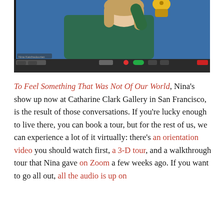[Figure (screenshot): Screenshot of a Zoom video call showing a person in a green sweater holding up a golden bell against a blue background. The Zoom toolbar is visible at the bottom.]
To Feel Something That Was Not Of Our World, Nina's show up now at Catharine Clark Gallery in San Francisco, is the result of those conversations. If you're lucky enough to live there, you can book a tour, but for the rest of us, we can experience a lot of it virtually: there's an orientation video you should watch first, a 3-D tour, and a walkthrough tour that Nina gave on Zoom a few weeks ago. If you want to go all out, all the audio is up on